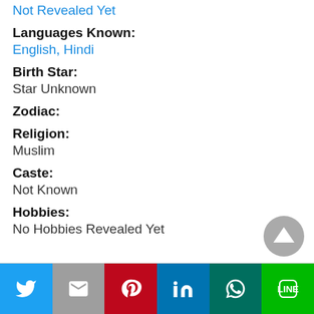Not Revealed Yet
Languages Known:
English, Hindi
Birth Star:
Star Unknown
Zodiac:
Religion:
Muslim
Caste:
Not Known
Hobbies:
No Hobbies Revealed Yet
Twitter | Gmail | Pinterest | LinkedIn | WhatsApp | Line